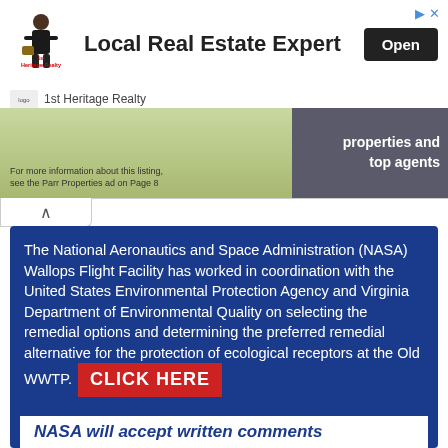[Figure (screenshot): 1st Heritage Realty advertisement banner with logo, 'Local Real Estate Expert' headline, and Open button]
[Figure (photo): Real estate property image strip with caption 'For more information about this listing, see the Parr Properties ad on Page 8' and text 'properties and top agents' on dark right panel]
The National Aeronautics and Space Administration (NASA) Wallops Flight Facility has worked in coordination with the United States Environmental Protection Agency and Virginia Department of Environmental Quality on selecting the remedial options and determining the preferred remedial alternative for the protection of ecological receptors at the Old WWTP. CLICK HERE
NASA will accept written comments